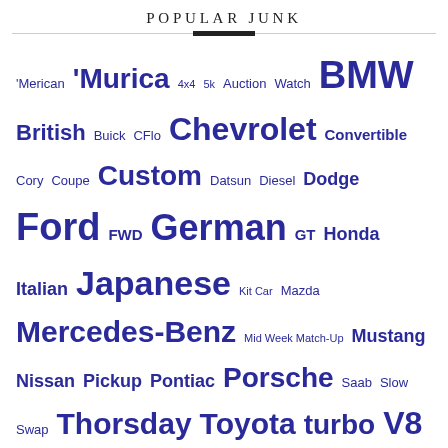POPULAR JUNK
[Figure (infographic): Tag cloud with automotive terms in various sizes and dark blue color: 'Merican, 'Murica, 4x4, 5k, Auction, Watch, BMW, British, Buick, CFlo, Chevrolet, Convertible, Cory, Coupe, Custom, Datsun, Diesel, Dodge, Ford, FWD, German, GT, Honda, Italian, Japanese, Kit Car, Mazda, Mercedes-Benz, Mid Week Match-Up, Mustang, Nissan, Pickup, Pontiac, Porsche, Saab, Slow Swap, Thorsday, Toyota, turbo, V8, V8 Swap, Volkswagen, Volvo, Wagon, What Am I?]
AMAZON
[Figure (screenshot): Amazon advertisement showing Kindle and Echo devices with text: Shop. Connect. Enjoy. Shop now. Amazon logo with orange arrow.]